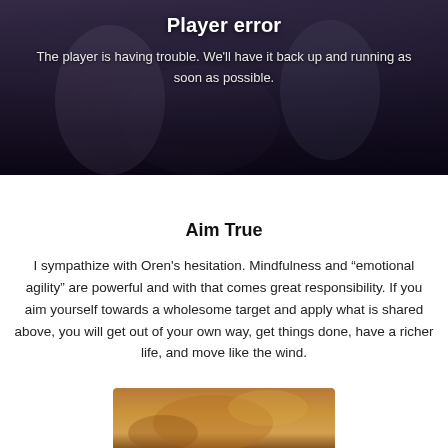[Figure (screenshot): Video player error overlay shown over a blurred dark background image of people. Displays 'Player error' title and error message text in white on dark semi-transparent overlay.]
Player error
The player is having trouble. We'll have it back up and running as soon as possible.
Aim True
I sympathize with Oren's hesitation. Mindfulness and “emotional agility” are powerful and with that comes great responsibility. If you aim yourself towards a wholesome target and apply what is shared above, you will get out of your own way, get things done, have a richer life, and move like the wind.
[Figure (photo): Partial photo visible at the bottom of the page, warm brown/golden tones suggesting a person or food item.]